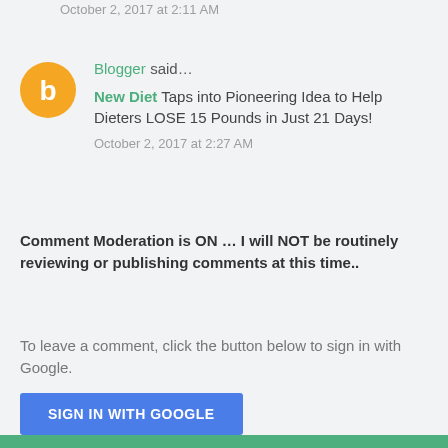October 2, 2017 at 2:11 AM
Blogger said... New Diet Taps into Pioneering Idea to Help Dieters LOSE 15 Pounds in Just 21 Days!
October 2, 2017 at 2:27 AM
Comment Moderation is ON ... I will NOT be routinely reviewing or publishing comments at this time..
To leave a comment, click the button below to sign in with Google.
SIGN IN WITH GOOGLE